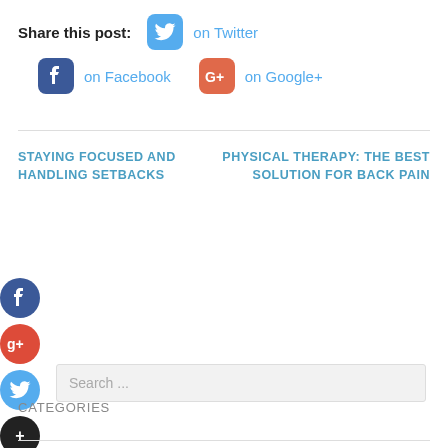Share this post: on Twitter
on Facebook  on Google+
STAYING FOCUSED AND HANDLING SETBACKS
PHYSICAL THERAPY: THE BEST SOLUTION FOR BACK PAIN
Search ...
CATEGORIES